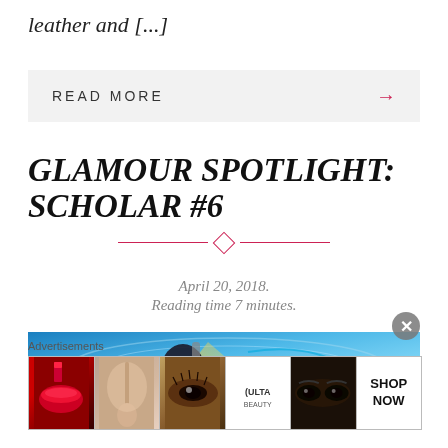leather and [...]
READ MORE →
GLAMOUR SPOTLIGHT: SCHOLAR #6
April 20, 2018.
Reading time 7 minutes.
[Figure (photo): Beauty/cosmetics banner image with blue background, makeup brush, and swirling light effects]
Advertisements
[Figure (photo): ULTA Beauty advertisement strip showing makeup products: red lips, makeup brush, eye makeup, ULTA logo, eye close-up, and SHOP NOW call to action]